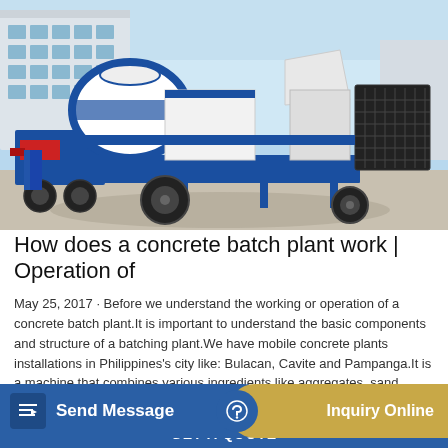[Figure (photo): A blue and white mobile concrete batch plant / concrete mixer pump machine parked on a paved surface outdoors, with a building visible in the background and blue sky.]
How does a concrete batch plant work | Operation of
May 25, 2017 · Before we understand the working or operation of a concrete batch plant.It is important to understand the basic components and structure of a batching plant.We have mobile concrete plants installations in Philippines's city like: Bulacan, Cavite and Pampanga.It is a machine that combines various ingredients like aggregates, sand, water, cement and ...s are f...
Send Message
Inquiry Online
GET A QUOTE